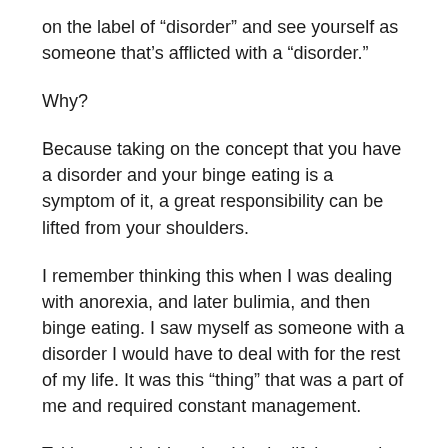on the label of “disorder” and see yourself as someone that’s afflicted with a “disorder.”
Why?
Because taking on the concept that you have a disorder and your binge eating is a symptom of it, a great responsibility can be lifted from your shoulders.
I remember thinking this when I was dealing with anorexia, and later bulimia, and then binge eating. I saw myself as someone with a disorder I would have to deal with for the rest of my life. It was this “thing” that was a part of me and required constant management.
Taking on this idea that I had a lifelong eating “disorder” that merely had changed forms, no longer did it seem like I was behaving stupidly and blindly. No longer did I